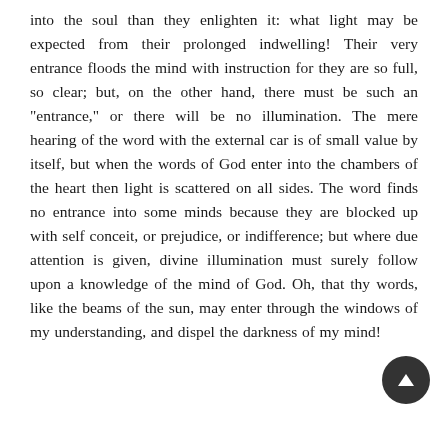into the soul than they enlighten it: what light may be expected from their prolonged indwelling! Their very entrance floods the mind with instruction for they are so full, so clear; but, on the other hand, there must be such an "entrance," or there will be no illumination. The mere hearing of the word with the external car is of small value by itself, but when the words of God enter into the chambers of the heart then light is scattered on all sides. The word finds no entrance into some minds because they are blocked up with self conceit, or prejudice, or indifference; but where due attention is given, divine illumination must surely follow upon a knowledge of the mind of God. Oh, that thy words, like the beams of the sun, may enter through the windows of my understanding, and dispel the darkness of my mind!